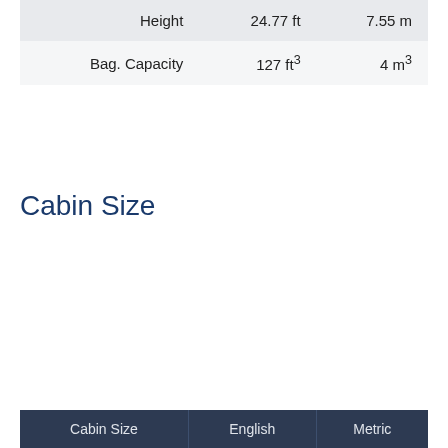| Height | 24.77 ft | 7.55 m |
| Bag. Capacity | 127 ft³ | 4 m³ |
Cabin Size
| Cabin Size | English | Metric |
| --- | --- | --- |